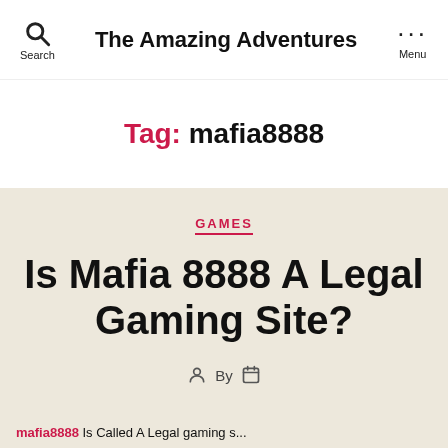Search   The Amazing Adventures   Menu
Tag: mafia8888
GAMES
Is Mafia 8888 A Legal Gaming Site?
By
mafia8888 Is Called A Legal gaming s...